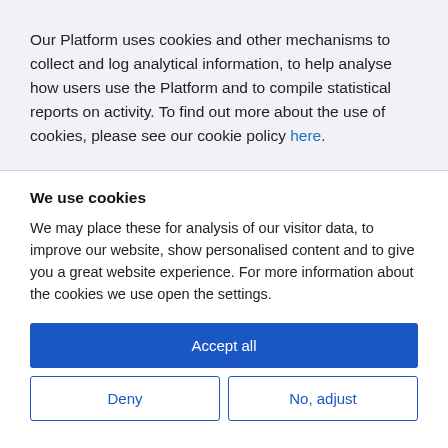Our Platform uses cookies and other mechanisms to collect and log analytical information, to help analyse how users use the Platform and to compile statistical reports on activity. To find out more about the use of cookies, please see our cookie policy here.
We use cookies
We may place these for analysis of our visitor data, to improve our website, show personalised content and to give you a great website experience. For more information about the cookies we use open the settings.
Accept all
Deny
No, adjust